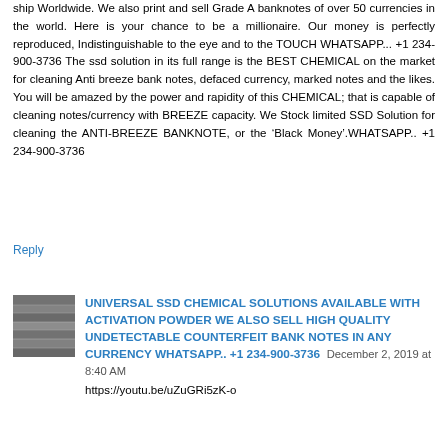ship Worldwide. We also print and sell Grade A banknotes of over 50 currencies in the world. Here is your chance to be a millionaire. Our money is perfectly reproduced, Indistinguishable to the eye and to the TOUCH WHATSAPP... +1 234-900-3736 The ssd solution in its full range is the BEST CHEMICAL on the market for cleaning Anti breeze bank notes, defaced currency, marked notes and the likes. You will be amazed by the power and rapidity of this CHEMICAL; that is capable of cleaning notes/currency with BREEZE capacity. We Stock limited SSD Solution for cleaning the ANTI-BREEZE BANKNOTE, or the ‘Black Money’.WHATSAPP.. +1 234-900-3736
Reply
[Figure (photo): Small thumbnail image of stacked banknotes]
UNIVERSAL SSD CHEMICAL SOLUTIONS AVAILABLE WITH ACTIVATION POWDER WE ALSO SELL HIGH QUALITY UNDETECTABLE COUNTERFEIT BANK NOTES IN ANY CURRENCY WHATSAPP.. +1 234-900-3736   December 2, 2019 at 8:40 AM
https://youtu.be/uZuGRi5zK-o